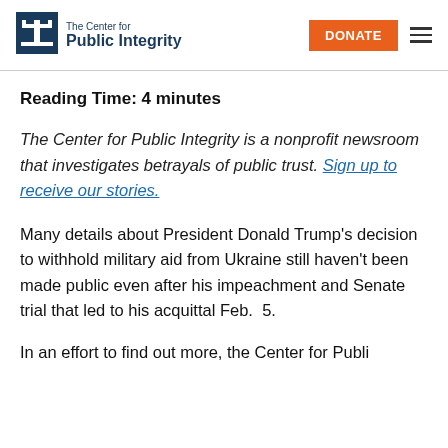The Center for Public Integrity — DONATE
Reading Time: 4 minutes
The Center for Public Integrity is a nonprofit newsroom that investigates betrayals of public trust. Sign up to receive our stories.
Many details about President Donald Trump's decision to withhold military aid from Ukraine still haven't been made public even after his impeachment and Senate trial that led to his acquittal Feb.  5.